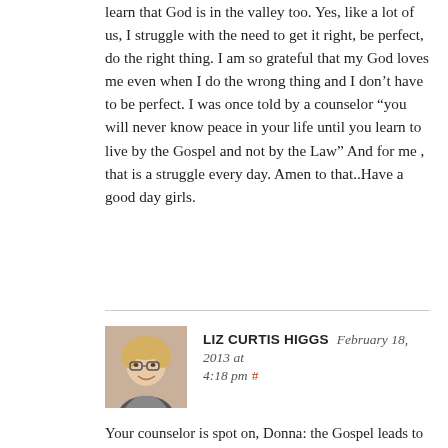learn that God is in the valley too. Yes, like a lot of us, I struggle with the need to get it right, be perfect, do the right thing. I am so grateful that my God loves me even when I do the wrong thing and I don't have to be perfect. I was once told by a counselor “you will never know peace in your life until you learn to live by the Gospel and not by the Law” And for me , that is a struggle every day. Amen to that..Have a good day girls.
LIZ CURTIS HIGGS   February 18, 2013 at 4:18 pm #
[Figure (photo): Photo of Liz Curtis Higgs, a woman with blonde hair and glasses, smiling.]
Your counselor is spot on, Donna: the Gospel leads to love, joy, peace, patience, kindness, goodness, faithfulness, gentleness and self-control (Galatians 5:22-23). But the Law leads to just the opposite: hatred, sorrow, unrest, impatience, unkindness,